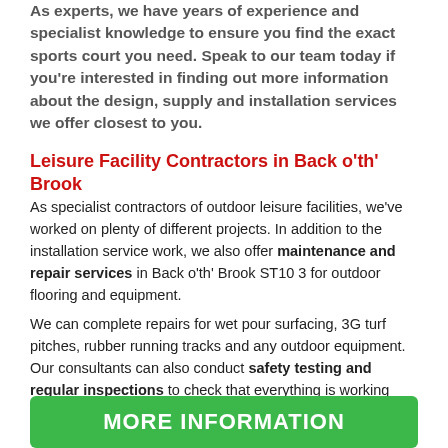As experts, we have years of experience and specialist knowledge to ensure you find the exact sports court you need. Speak to our team today if you're interested in finding out more information about the design, supply and installation services we offer closest to you.
Leisure Facility Contractors in Back o'th' Brook
As specialist contractors of outdoor leisure facilities, we've worked on plenty of different projects. In addition to the installation service work, we also offer maintenance and repair services in Back o'th' Brook ST10 3 for outdoor flooring and equipment.
We can complete repairs for wet pour surfacing, 3G turf pitches, rubber running tracks and any outdoor equipment. Our consultants can also conduct safety testing and regular inspections to check that everything is working correctly and safely. If you need a specialist repairs company for your play area, sports facility, or surrounding areas, please contact us today through the quick form on this page.
MORE INFORMATION